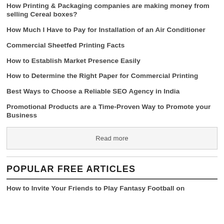How Printing & Packaging companies are making money from selling Cereal boxes?
How Much I Have to Pay for Installation of an Air Conditioner
Commercial Sheetfed Printing Facts
How to Establish Market Presence Easily
How to Determine the Right Paper for Commercial Printing
Best Ways to Choose a Reliable SEO Agency in India
Promotional Products are a Time-Proven Way to Promote your Business
Read more
POPULAR FREE ARTICLES
How to Invite Your Friends to Play Fantasy Football on